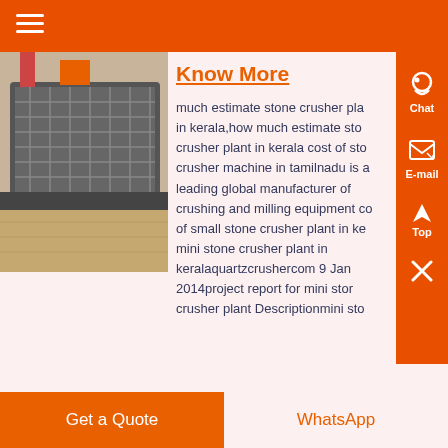[Figure (photo): Photo of stone crusher machinery equipment, partially visible on the left side of the page]
Know More
much estimate stone crusher plant in kerala,how much estimate stone crusher plant in kerala cost of stone crusher machine in tamilnadu is a leading global manufacturer of crushing and milling equipment cost of small stone crusher plant in kerala mini stone crusher plant in keralaquartzcrushercom 9 Jan 2014project report for mini stone crusher plant Descriptionmini stone crusher plant
Chat
E-mail
Top
Get a Quote
WhatsApp